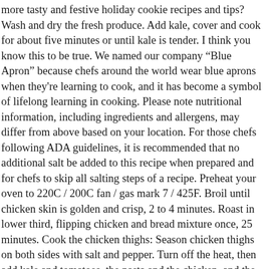more tasty and festive holiday cookie recipes and tips? Wash and dry the fresh produce. Add kale, cover and cook for about five minutes or until kale is tender. I think you know this to be true. We named our company “Blue Apron” because chefs around the world wear blue aprons when they're learning to cook, and it has become a symbol of lifelong learning in cooking. Please note nutritional information, including ingredients and allergens, may differ from above based on your location. For those chefs following ADA guidelines, it is recommended that no additional salt be added to this recipe when prepared and for chefs to skip all salting steps of a recipe. Preheat your oven to 220C / 200C fan / gas mark 7 / 425F. Broil until chicken skin is golden and crisp, 2 to 4 minutes. Roast in lower third, flipping chicken and bread mixture once, 25 minutes. Cook the chicken thighs: Season chicken thighs on both sides with salt and pepper. Turn off the heat, then add kale and tomatoes, the pasta and the chicken, and the Parmesan shavings. Location-specific nutritional information is available for viewing upon subscribing, or by logging in if you are already a subscriber. Drain thoroughly. Place in a baking dish. To manage your Blue Apron membership. We believe you're